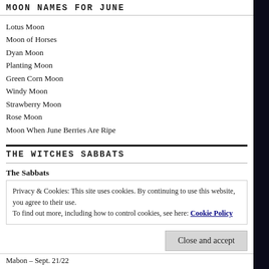MOON NAMES FOR JUNE
Lotus Moon
Moon of Horses
Dyan Moon
Planting Moon
Green Corn Moon
Windy Moon
Strawberry Moon
Rose Moon
Moon When June Berries Are Ripe
THE WITCHES SABBATS
The Sabbats
Privacy & Cookies: This site uses cookies. By continuing to use this website, you agree to their use.
To find out more, including how to control cookies, see here: Cookie Policy
Close and accept
Mabon – Sept. 21/22